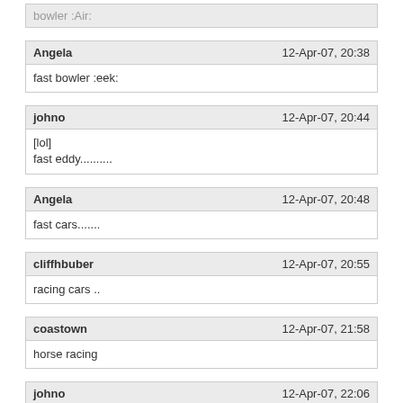bowler :Air:
Angela — 12-Apr-07, 20:38 — fast bowler :eek:
johno — 12-Apr-07, 20:44 — [lol]
fast eddy..........
Angela — 12-Apr-07, 20:48 — fast cars.......
cliffhbuber — 12-Apr-07, 20:55 — racing cars ..
coastown — 12-Apr-07, 21:58 — horse racing
johno — 12-Apr-07, 22:06 — horse face [lol] [lol]
Angela — 12-Apr-07, 22:08 — horse sense [lol]